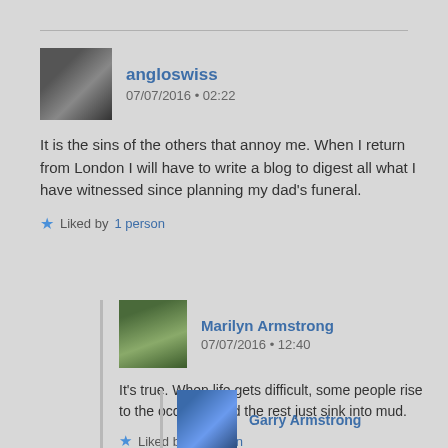angloswiss
07/07/2016 • 02:22
It is the sins of the others that annoy me. When I return from London I will have to write a blog to digest all what I have witnessed since planning my dad's funeral.
Liked by 1 person
Marilyn Armstrong
07/07/2016 • 12:40
It's true. When life gets difficult, some people rise to the occasion and the rest just sink into mud.
Liked by 1 person
Garry Armstrong
07/07/2016 • 15:41